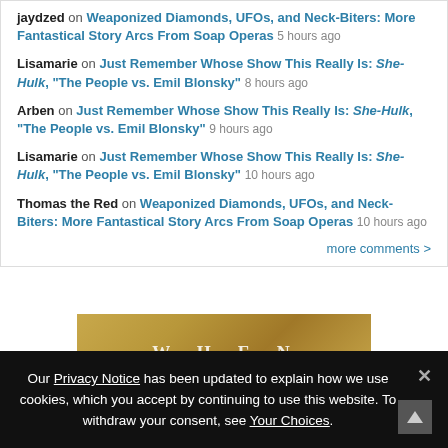jaydzed on Weaponized Diamonds, UFOs, and Neck-Biters: More Fantastical Story Arcs From Soap Operas 5 hours ago
Lisamarie on Just Remember Whose Show This Really Is: She-Hulk, “The People vs. Emil Blonsky” 8 hours ago
Arben on Just Remember Whose Show This Really Is: She-Hulk, “The People vs. Emil Blonsky” 9 hours ago
Lisamarie on Just Remember Whose Show This Really Is: She-Hulk, “The People vs. Emil Blonsky” 10 hours ago
Thomas the Red on Weaponized Diamonds, UFOs, and Neck-Biters: More Fantastical Story Arcs From Soap Operas 10 hours ago
more comments >
[Figure (photo): Book cover or object on golden/amber background with letters W H E N visible]
Our Privacy Notice has been updated to explain how we use cookies, which you accept by continuing to use this website. To withdraw your consent, see Your Choices.